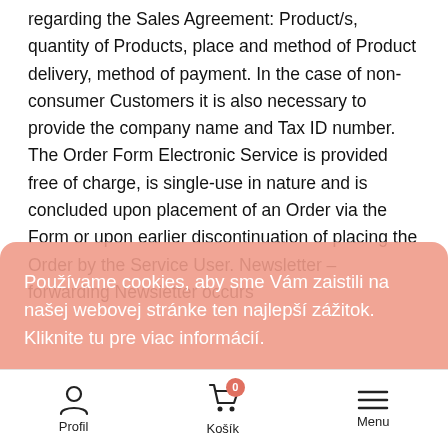regarding the Sales Agreement: Product/s, quantity of Products, place and method of Product delivery, method of payment. In the case of non-consumer Customers it is also necessary to provide the company name and Tax ID number. The Order Form Electronic Service is provided free of charge, is single-use in nature and is concluded upon placement of an Order via the Form or upon earlier discontinuation of placing the Order by the Service User. Newsletter – forwarding Newsletter occurs
Používame cookies, aby sme Vám zaistili na našej webovej stránke ten najlepší zážitok. Kliknite tu pre viac informácií.
Súhlasím
Profil | Košík | Menu